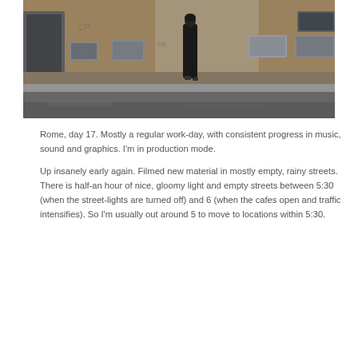[Figure (photo): A person dressed in a long black coat walking along a weathered, graffiti-marked urban wall in Rome. The street is wet and mostly empty, with a gloomy, overcast light.]
Rome, day 17. Mostly a regular work-day, with consistent progress in music, sound and graphics. I'm in production mode.
Up insanely early again. Filmed new material in mostly empty, rainy streets. There is half-an hour of nice, gloomy light and empty streets between 5:30 (when the street-lights are turned off) and 6 (when the cafes open and traffic intensifies). So I'm usually out around 5 to move to locations within 5:30.